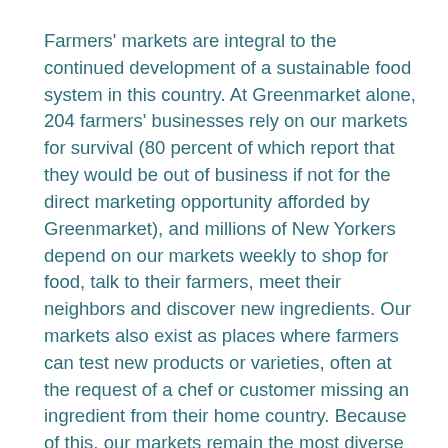Farmers' markets are integral to the continued development of a sustainable food system in this country. At Greenmarket alone, 204 farmers' businesses rely on our markets for survival (80 percent of which report that they would be out of business if not for the direct marketing opportunity afforded by Greenmarket), and millions of New Yorkers depend on our markets weekly to shop for food, talk to their farmers, meet their neighbors and discover new ingredients. Our markets also exist as places where farmers can test new products or varieties, often at the request of a chef or customer missing an ingredient from their home country. Because of this, our markets remain the most diverse and dynamic places to buy food in New York City.
By “voting with their fork,” Greenmarket customers take a stand against the industrial food system by keeping small farms thriving, helping to preserve healthy regional farmland and supporting